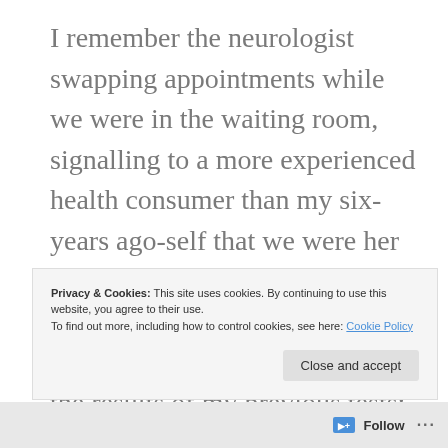I remember the neurologist swapping appointments while we were in the waiting room, signalling to a more experienced health consumer than my six-years ago-self that we were her difficult job for the day (Densil was more savvy than me). I remember her taking us through the results of my previous tests: the seemingly innocuous blood results; the beautifully clear – Look! – MRI; the nerve conduction studies and electromyography that I'd already sussed out as showing nerve innervation and de-innervation – that
Privacy & Cookies: This site uses cookies. By continuing to use this website, you agree to their use.
To find out more, including how to control cookies, see here: Cookie Policy
Close and accept